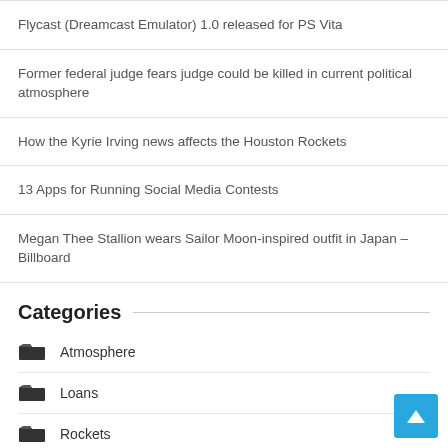Flycast (Dreamcast Emulator) 1.0 released for PS Vita
Former federal judge fears judge could be killed in current political atmosphere
How the Kyrie Irving news affects the Houston Rockets
13 Apps for Running Social Media Contests
Megan Thee Stallion wears Sailor Moon-inspired outfit in Japan – Billboard
Categories
Atmosphere
Loans
Rockets
Sonic Adventure